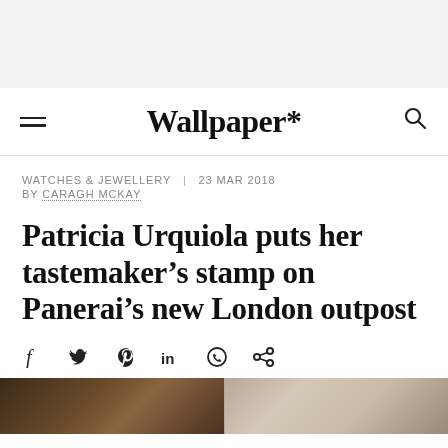Wallpaper*
WATCHES & JEWELLERY | 23 MAR 2018 BY CARAGH MCKAY
Patricia Urquiola puts her tastemaker’s stamp on Panerai’s new London outpost
[Figure (other): Social share icons: facebook, twitter, pinterest, linkedin, whatsapp, share]
[Figure (photo): Two partial thumbnail images at the bottom of the page showing interior/product photography]